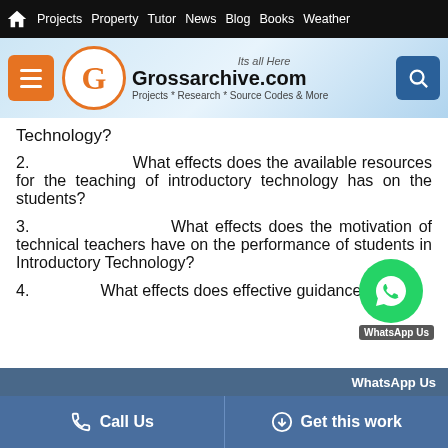Projects  Property  Tutor  News  Blog  Books  Weather
[Figure (logo): Grossarchive.com logo with orange circle G, tagline: Projects * Research * Source Codes & More, Its all Here]
Technology?
2.	What effects does the available resources for the teaching of introductory technology has on the students?
3.	What effects does the motivation of technical teachers have on the performance of students in Introductory Technology?
4.	What effects does effective guidance
WhatsApp Us  |  Call Us  |  Get this work